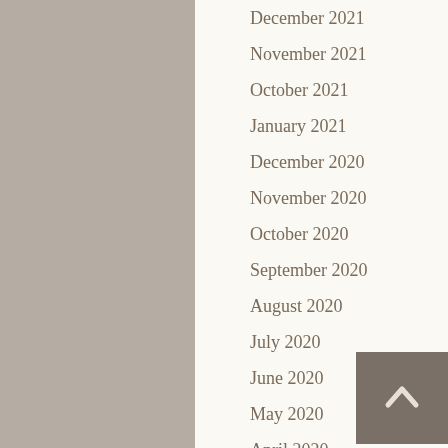December 2021
November 2021
October 2021
January 2021
December 2020
November 2020
October 2020
September 2020
August 2020
July 2020
June 2020
May 2020
April 2020
March 2020
February 2020
January 2020
December 2019
November 2019
October 2019
September 2019
August 2019
July 2019
June 2019